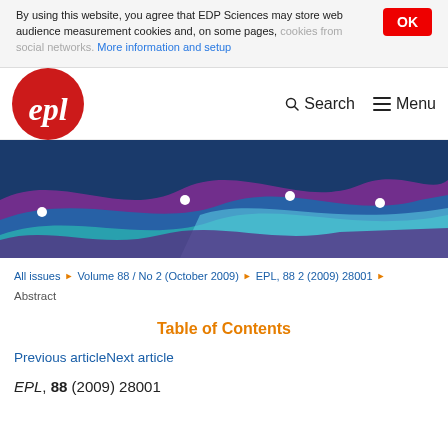By using this website, you agree that EDP Sciences may store web audience measurement cookies and, on some pages, cookies from social networks. More information and setup
EPL journal — Search | Menu
[Figure (illustration): Abstract colorful wave banner with purple, blue and teal gradients and white circle dots]
All issues › Volume 88 / No 2 (October 2009) › EPL, 88 2 (2009) 28001 ›
Abstract
Table of Contents
Previous articleNext article
EPL, 88 (2009) 28001